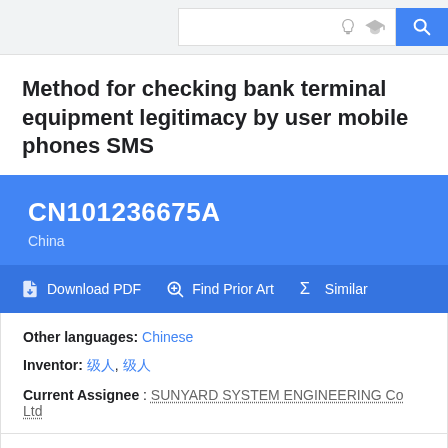Search bar with icons
Method for checking bank terminal equipment legitimacy by user mobile phones SMS
CN101236675A
China
Download PDF | Find Prior Art | Similar
Other languages: Chinese
Inventor: 创始人, 创始人
Current Assignee : SUNYARD SYSTEM ENGINEERING Co Ltd
Worldwide applications